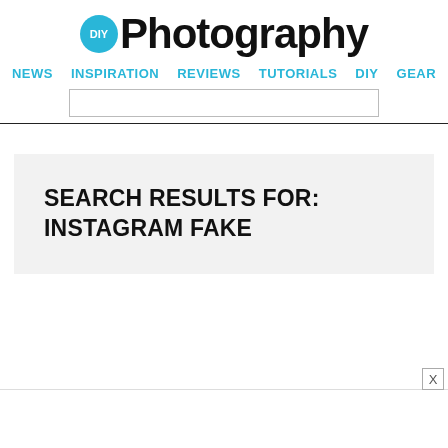[Figure (logo): DIYPhotography logo with cyan circle containing 'DIY' text and large bold 'Photography' wordmark]
NEWS  INSPIRATION  REVIEWS  TUTORIALS  DIY  GEAR
SEARCH RESULTS FOR: INSTAGRAM FAKE